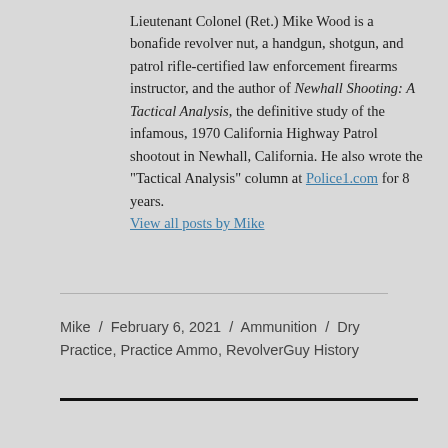Lieutenant Colonel (Ret.) Mike Wood is a bonafide revolver nut, a handgun, shotgun, and patrol rifle-certified law enforcement firearms instructor, and the author of Newhall Shooting: A Tactical Analysis, the definitive study of the infamous, 1970 California Highway Patrol shootout in Newhall, California. He also wrote the "Tactical Analysis" column at Police1.com for 8 years. View all posts by Mike
Mike / February 6, 2021 / Ammunition / Dry Practice, Practice Ammo, RevolverGuy History